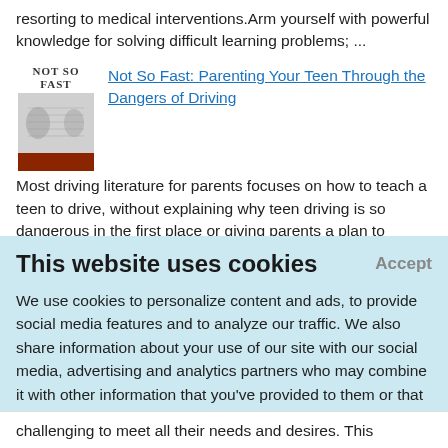resorting to medical interventions.Arm yourself with powerful knowledge for solving difficult learning problems; ...
Not So Fast: Parenting Your Teen Through the Dangers of Driving
Most driving literature for parents focuses on how to teach a teen to drive, without explaining why teen driving is so dangerous in the first place or giving parents a plan to preempt the hazards teens face. By contrast, Not So Fast empowers and guides parents to understand the causes
This website uses cookies
Accept
We use cookies to personalize content and ads, to provide social media features and to analyze our traffic. We also share information about your use of our site with our social media, advertising and analytics partners who may combine it with other information that you've provided to them or that they've collected from your use of their services.
Learn More.
challenging to meet all their needs and desires. This